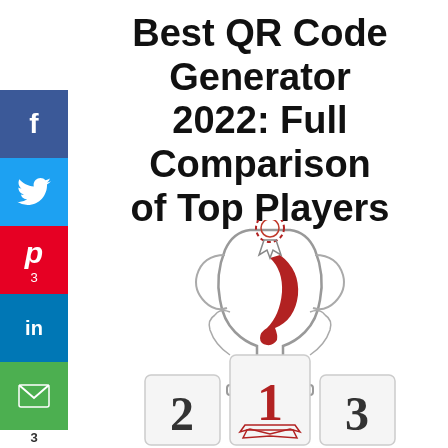Best QR Code Generator 2022: Full Comparison of Top Players
[Figure (illustration): Trophy with medal on top and a podium with positions 1, 2, 3 below it. The trophy has a red crescent/letter J design on it. The podium shows '2' on the left block, '1' in red on the center (raised) block with a ribbon banner, and '3' on the right block.]